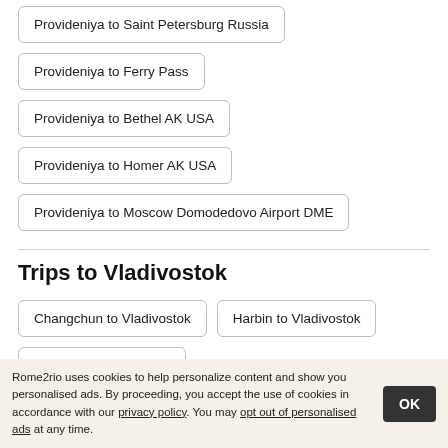Provideniya to Saint Petersburg Russia
Provideniya to Ferry Pass
Provideniya to Bethel AK USA
Provideniya to Homer AK USA
Provideniya to Moscow Domodedovo Airport DME
Trips to Vladivostok
Changchun to Vladivostok
Harbin to Vladivostok
Warsaw to Vladivostok
Grodekovo Primorskiy Kray Russia to Vladivostok
Petropavlovsk Kamchatsky to Vladivostok
Brisbane to Vladivostok
Rome2rio uses cookies to help personalize content and show you personalised ads. By proceeding, you accept the use of cookies in accordance with our privacy policy. You may opt out of personalised ads at any time.